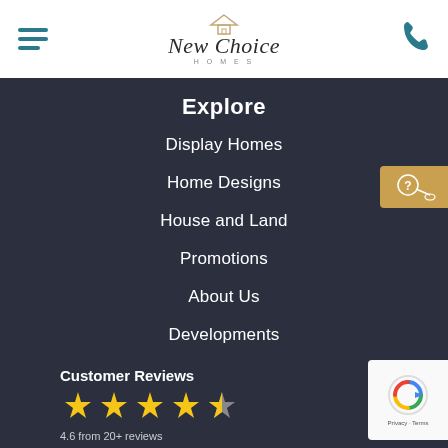[Figure (logo): New Choice Homes logo with house icon, stylized cursive text and HOMES subtitle]
Explore
Display Homes
Home Designs
House and Land
Promotions
About Us
Developments
Finance
Customer Reviews
[Figure (infographic): 5 gold stars rating display, approximately 4.6 from 20+ reviews]